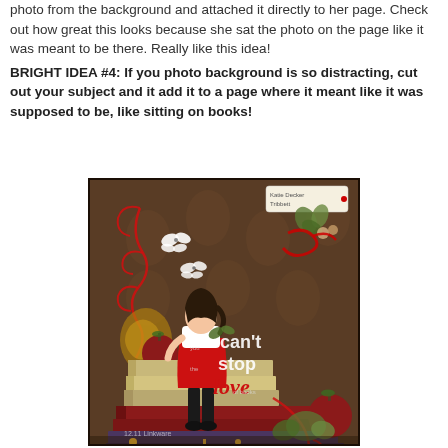photo from the background and attached it directly to her page. Check out how great this looks because she sat the photo on the page like it was meant to be there. Really like this idea!
BRIGHT IDEA #4: If you photo background is so distracting, cut out your subject and it add it to a page where it meant like it was supposed to be, like sitting on books!
[Figure (photo): A decorative scrapbook page with a dark brown vintage background featuring a girl in a red dress sitting on stacked books, with red swirling embellishments, white butterflies, floral decorations, and text reading 'can't stop love'. The page has ornate decorative elements including red curling vines and botanical accents.]